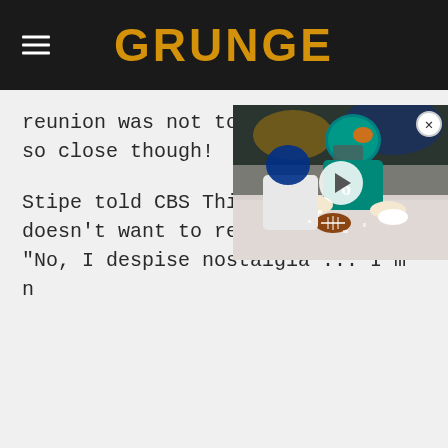GRUNGE
reunion was not to be. They were so close though!
Stipe told CBS This Morning (v... doesn't want to reunite as a m... "No, I despise nostalgia ... I'm n...
[Figure (screenshot): Video player overlay showing a football game scene with a Miami Dolphins player in teal helmet and jersey diving for the ball. A white play button circle is centered on the video. An X close button is in the top right corner.]